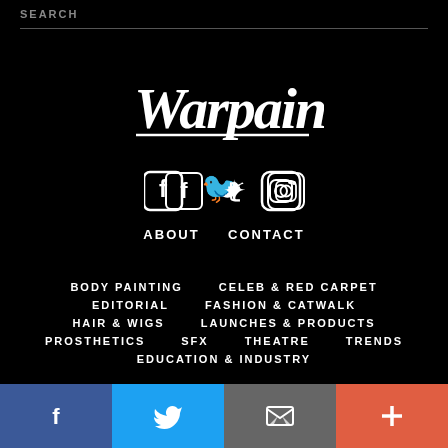SEARCH
[Figure (logo): Warpaint handwritten-style logo in white on black background]
[Figure (infographic): Social media icons: Facebook, Twitter, Instagram in white outline style]
ABOUT   CONTACT
BODY PAINTING
CELEB & RED CARPET
EDITORIAL
FASHION & CATWALK
HAIR & WIGS
LAUNCHES & PRODUCTS
PROSTHETICS
SFX
THEATRE
TRENDS
EDUCATION & INDUSTRY
Social share bar: Facebook (blue), Twitter (light blue), Email (grey), Add (red/orange)